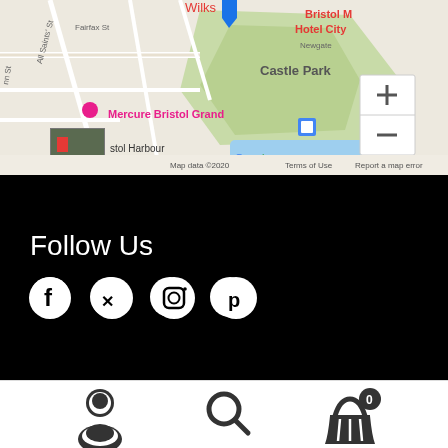[Figure (map): Google Maps screenshot showing central Bristol area with Castle Park, Mercure Bristol Grand, Bristol Harbour Hotel & Spa, and Bristol M Hotel City labels. Map controls (+/-) visible. Map data ©2020, Terms of Use, Report a map error shown at bottom.]
Follow Us
[Figure (infographic): Social media icons: Facebook, Twitter, Instagram, Pinterest — white icons on black background]
[Figure (infographic): Footer navigation bar with person/account icon, search icon, and shopping basket icon with badge showing 0]